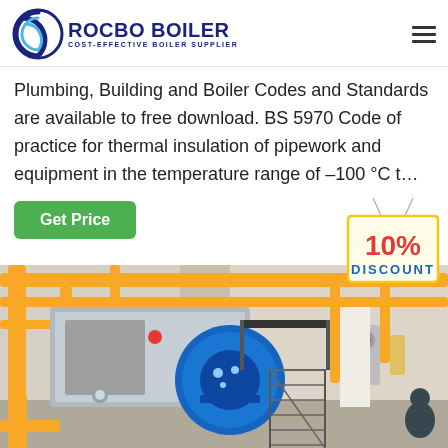ROCBO BOILER — COST-EFFECTIVE BOILER SUPPLIER
Plumbing, Building and Boiler Codes and Standards are available to free download. BS 5970 Code of practice for thermal insulation of pipework and equipment in the temperature range of –100 °C t…
Get Price
[Figure (photo): Industrial boiler room with a large blue gas-fired boiler unit, yellow pipework overhead, metal staircase, and a worker in the foreground.]